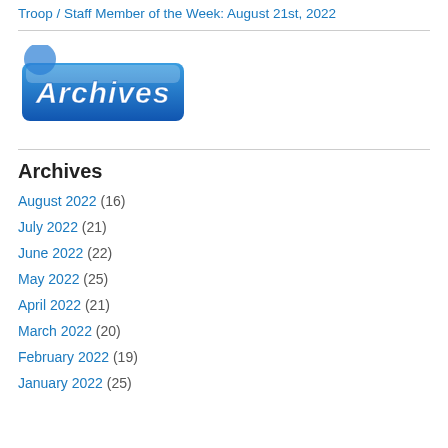Troop / Staff Member of the Week: August 21st, 2022
[Figure (logo): Archives banner/logo image with stylized blue background and white text reading 'Archives']
Archives
August 2022 (16)
July 2022 (21)
June 2022 (22)
May 2022 (25)
April 2022 (21)
March 2022 (20)
February 2022 (19)
January 2022 (25)